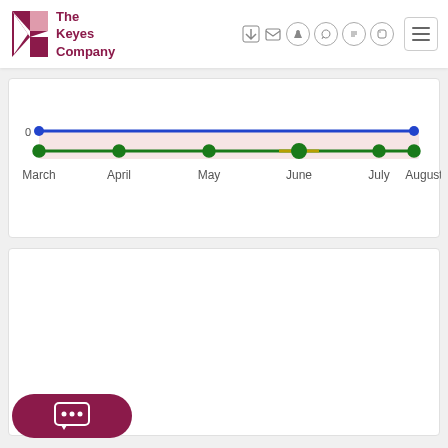[Figure (logo): The Keyes Company logo with stylized K in dark pink/maroon]
[Figure (line-chart): Line chart March to August]
[Figure (other): Empty white card section below the chart]